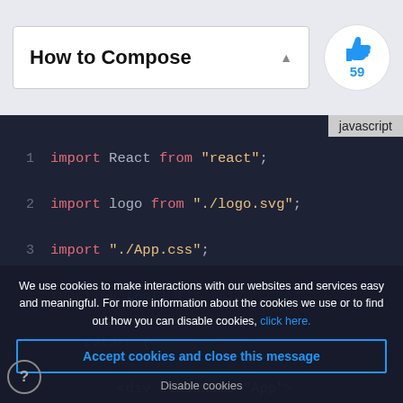How to Compose
[Figure (screenshot): JavaScript code editor showing React app code with syntax highlighting on a dark background. Lines 1-11 visible with import statements, function App, return JSX markup.]
We use cookies to make interactions with our websites and services easy and meaningful. For more information about the cookies we use or to find out how you can disable cookies, click here.
Accept cookies and close this message
Disable cookies